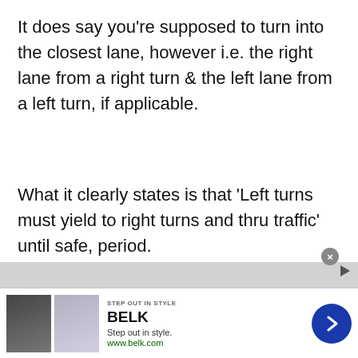It does say you're supposed to turn into the closest lane, however i.e. the right lane from a right turn & the left lane from a left turn, if applicable.
What it clearly states is that 'Left turns must yield to right turns and thru traffic' until safe, period.
In other words, use extreme caution when turning left and if you aren't sure...
[Figure (other): Advertisement banner for Belk department store with images of clothing, brand name BELK, tagline 'Step out in style.', URL www.belk.com, and a blue arrow button]